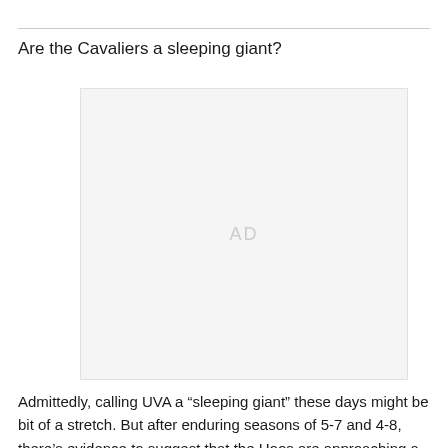Are the Cavaliers a sleeping giant?
[Figure (other): Advertisement placeholder block with 'AD' label]
Admittedly, calling UVA a “sleeping giant” these days might be bit of a stretch. But after enduring seasons of 5-7 and 4-8, there’s evidence to suggest that the Hoos are approaching a breakthrough. Bronco Mendenhall